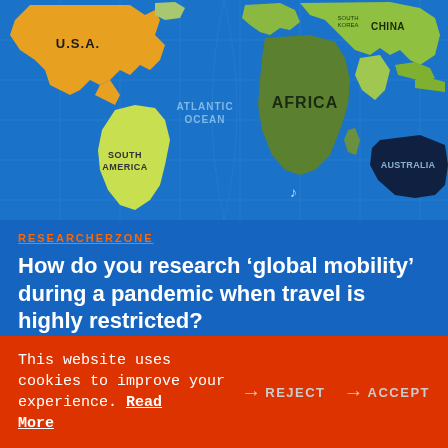[Figure (map): World map showing continents labeled: U.S.A., Atlantic Ocean, Africa, South America, China, Australia. Blue ocean background with grid lines. Continents in green, olive, and yellow-green colors.]
RESEARCHERZONE
How do you research ‘global mobility’ during a pandemic when travel is highly restricted?
23 SEP 2021
This website uses cookies to improve your experience. Read More → REJECT → ACCEPT